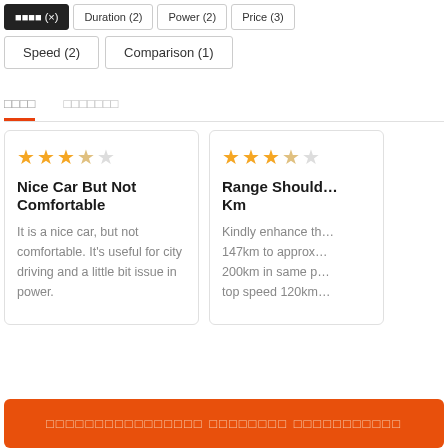Speed (2)
Comparison (1)
□□□□ □□□□□□□ (active tab)
Nice Car But Not Comfortable
It is a nice car, but not comfortable. It's useful for city driving and a little bit issue in power.
Range Should ... Km
Kindly enhance th... 147km to approx... 200km in same p... top speed 120km...
□□□□□□□□□□□□□□□□ □□□□□□□□ □□□□□□□□□□□